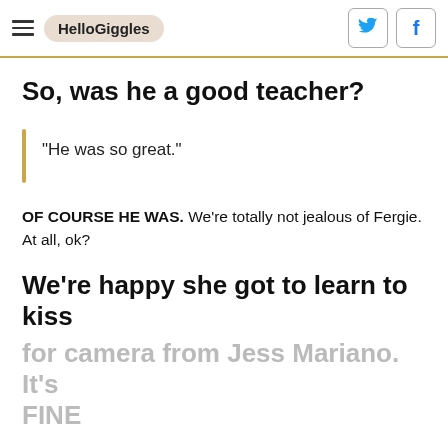HelloGiggles
So, was he a good teacher?
"He was so great."
OF COURSE HE WAS. We're totally not jealous of Fergie. At all, ok?
We're happy she got to learn to kiss for camera from Jess Mariano. It's FINE